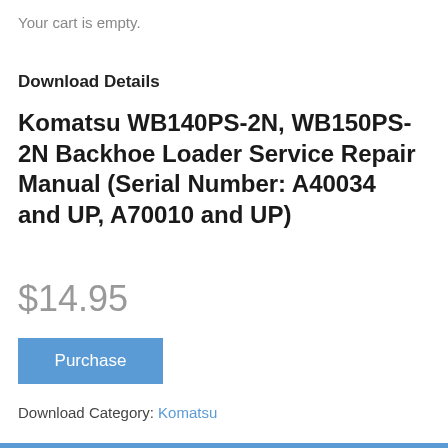Your cart is empty.
Download Details
Komatsu WB140PS-2N, WB150PS-2N Backhoe Loader Service Repair Manual (Serial Number: A40034 and UP, A70010 and UP)
$14.95
Purchase
Download Category: Komatsu